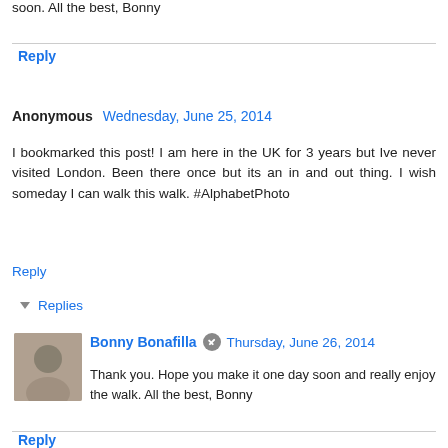soon. All the best, Bonny
Reply
Anonymous  Wednesday, June 25, 2014
I bookmarked this post! I am here in the UK for 3 years but Ive never visited London. Been there once but its an in and out thing. I wish someday I can walk this walk. #AlphabetPhoto
Reply
Replies
Bonny Bonafilla  Thursday, June 26, 2014
Thank you. Hope you make it one day soon and really enjoy the walk. All the best, Bonny
Reply